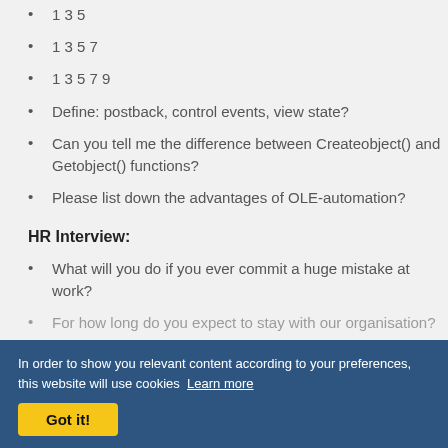1 3 5
1 3 5 7
1 3 5 7 9
Define: postback, control events, view state?
Can you tell me the difference between Createobject() and Getobject() functions?
Please list down the advantages of OLE-automation?
HR Interview:
What will you do if you ever commit a huge mistake at work?
For how long do you expect to stay with our organisation?
Will you happy to re-locate, if required?
Discuss your weakness and how do you plan to overcome them?
In order to show you relevant content according to your preferences, this website will use cookies Learn more